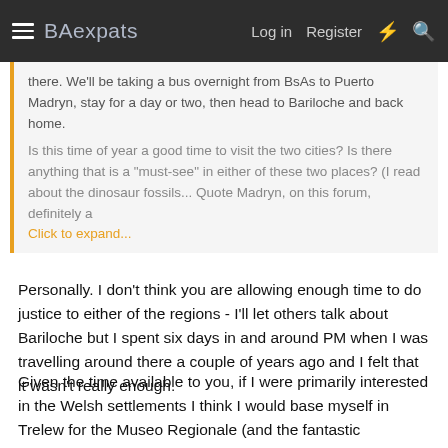BAexpats  Log in  Register
there. We'll be taking a bus overnight from BsAs to Puerto Madryn, stay for a day or two, then head to Bariloche and back home.

Is this time of year a good time to visit the two cities? Is there anything that is a "must-see" in either of these two places? (I read about the dinosaur fossils... Quote Madryn, on this forum, definitely a
Click to expand...
Personally. I don't think you are allowing enough time to do justice to either of the regions - I'll let others talk about Bariloche but I spent six days in and around PM when I was travelling around there a couple of years ago and I felt that it wasn't really enough.
Given the time available to you, if I were primarily interested in the Welsh settlements I think I would base myself in Trelew for the Museo Regionale (and the fantastic paleontology museum, of course) and the easy access to Rawson and Gaiman: the latter for its afternoon teas and small but fascinating museum. If natural history then probably Puerto Piramide and get really stuck into Penínsular Valdéz. Puerto Madryn is nice and central if you want